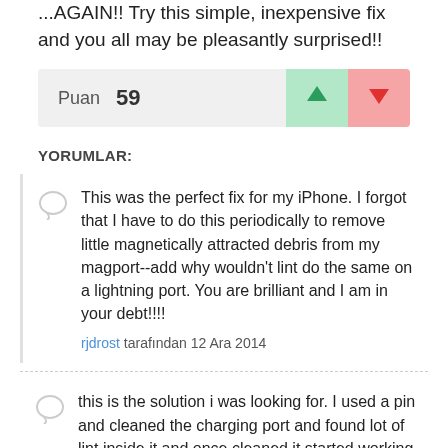...AGAIN!! Try this simple, inexpensive fix and you all may be pleasantly surprised!!
Puan 59
YORUMLAR:
This was the perfect fix for my iPhone. I forgot that I have to do this periodically to remove little magnetically attracted debris from my magport--add why wouldn't lint do the same on a lightning port. You are brilliant and I am in your debt!!!!
rjdrost tarafından 12 Ara 2014
this is the solution i was looking for. I used a pin and cleaned the charging port and found lot of lint inside it and once cleaned it started working fine.